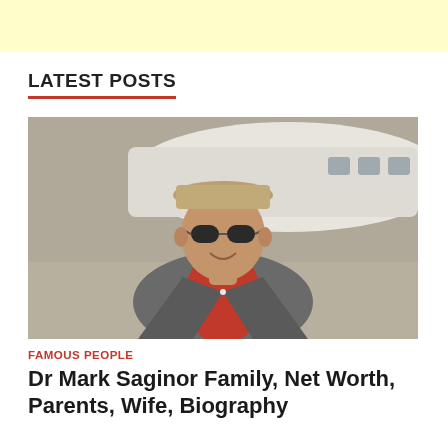LATEST POSTS
[Figure (photo): An older man wearing sunglasses, a brown hat, a grey blazer and a red open-collar shirt, standing in front of a white private jet on a tarmac.]
FAMOUS PEOPLE
Dr Mark Saginor Family, Net Worth, Parents, Wife, Biography